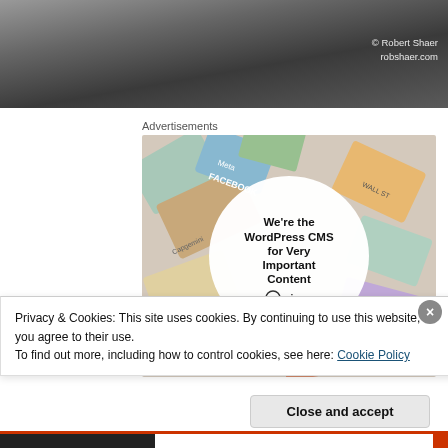[Figure (photo): Grayscale landscape/nature photo banner with photo credit overlay in top-right corner reading '© Robert Shaer robshaer.com']
Advertisements
[Figure (illustration): WordPress VIP advertisement showing: 'We're the WordPress CMS for Very Important Content' with WordPress logo and 'Learn more →' button, surrounded by colorful media brand cards (Meta, Facebook, Capgemini, etc.)]
Privacy & Cookies: This site uses cookies. By continuing to use this website, you agree to their use.
To find out more, including how to control cookies, see here: Cookie Policy
Close and accept